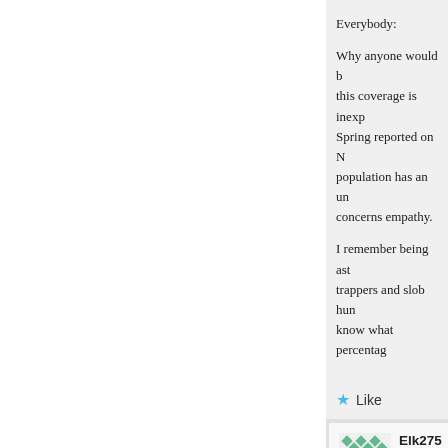Everybody:
Why anyone would b... this coverage is inexp... Spring reported on N... population has an un... concerns empathy.
I remember being ast... trappers and slob hun... know what percentag...
Like
Elk275 sa... December 1...
++In this regard, do... population trap?++
That would be simp... that state and then f... have a hunting licen... hunting licenses. Si...